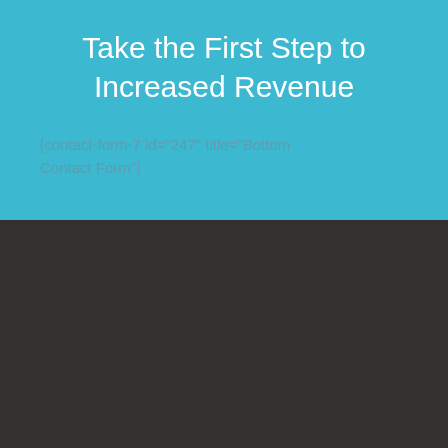Take the First Step to Increased Revenue
[contact-form-7 id="247" title="Bottom Contact Form"]